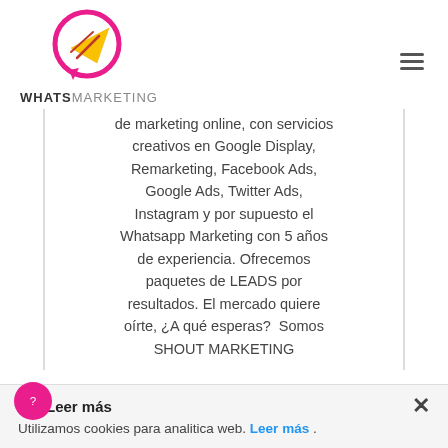[Figure (logo): WhatsMarketing logo: pink chat bubble with paper airplane, text WHATSMARKETING below]
de marketing online, con servicios creativos en Google Display, Remarketing, Facebook Ads, Google Ads, Twitter Ads, Instagram y por supuesto el Whatsapp Marketing con 5 años de experiencia. Ofrecemos paquetes de LEADS por resultados. El mercado quiere oírte, ¿A qué esperas?  Somos SHOUT MARKETING
Leer más
Utilizamos cookies para analitica web. Leer más .